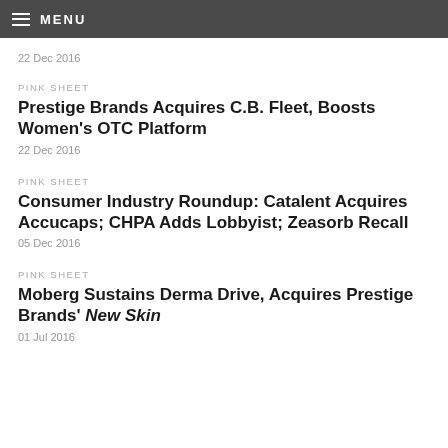MENU
22 Dec 2016
PINK SHEET
Prestige Brands Acquires C.B. Fleet, Boosts Women's OTC Platform
22 Dec 2016
PINK SHEET
Consumer Industry Roundup: Catalent Acquires Accucaps; CHPA Adds Lobbyist; Zeasorb Recall
05 Dec 2016
PINK SHEET
Moberg Sustains Derma Drive, Acquires Prestige Brands' New Skin
01 Jul 2016